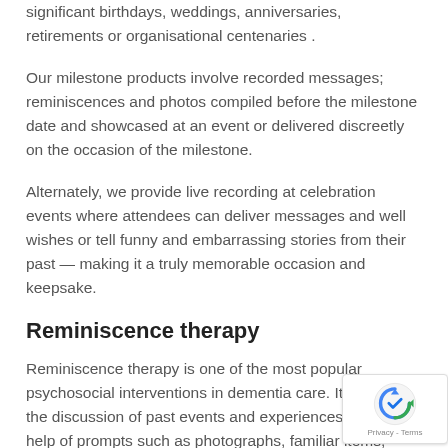significant birthdays, weddings, anniversaries, retirements or organisational centenaries .
Our milestone products involve recorded messages; reminiscences and photos compiled before the milestone date and showcased at an event or delivered discreetly on the occasion of the milestone.
Alternately, we provide live recording at celebration events where attendees can deliver messages and well wishes or tell funny and embarrassing stories from their past — making it a truly memorable occasion and keepsake.
Reminiscence therapy
Reminiscence therapy is one of the most popular psychosocial interventions in dementia care. It involves the discussion of past events and experiences with the help of prompts such as photographs, familiar items, music and archival recordings.